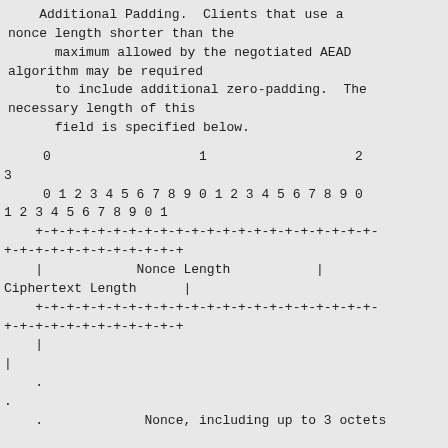Additional Padding. Clients that use a nonce length shorter than the maximum allowed by the negotiated AEAD algorithm may be required to include additional zero-padding. The necessary length of this field is specified below.
[Figure (schematic): Network protocol bit-field diagram showing a 32-bit wide packet structure with fields: Nonce Length (bits 0-15), Ciphertext Length (bits 16-31), followed by continuation rows with dots indicating variable-length Nonce field including up to 3 octets. Row labels show bit positions 0,1,2,3 and bit indices 0-9,0-9,0-1.]